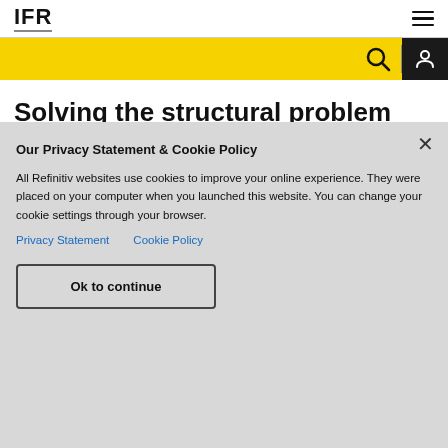IFR
Solving the structural problem
Our Privacy Statement & Cookie Policy
All Refinitiv websites use cookies to improve your online experience. They were placed on your computer when you launched this website. You can change your cookie settings through your browser.
Privacy Statement    Cookie Policy
Ok to continue